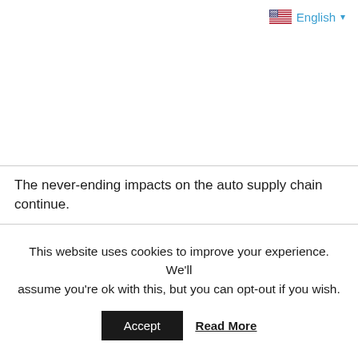English ▼
The never-ending impacts on the auto supply chain continue.
This website uses cookies to improve your experience. We'll assume you're ok with this, but you can opt-out if you wish.
Accept   Read More